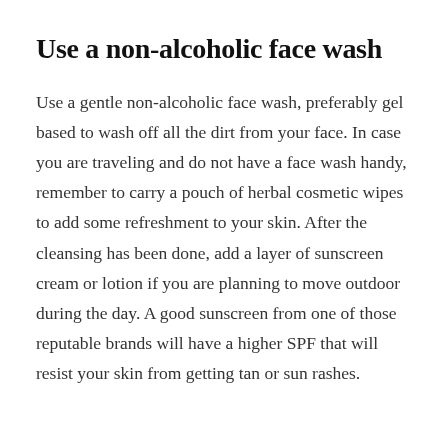Use a non-alcoholic face wash
Use a gentle non-alcoholic face wash, preferably gel based to wash off all the dirt from your face. In case you are traveling and do not have a face wash handy, remember to carry a pouch of herbal cosmetic wipes to add some refreshment to your skin. After the cleansing has been done, add a layer of sunscreen cream or lotion if you are planning to move outdoor during the day. A good sunscreen from one of those reputable brands will have a higher SPF that will resist your skin from getting tan or sun rashes.